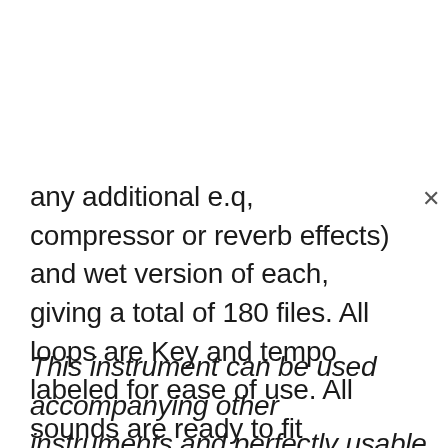any additional e.q, compressor or reverb effects) and wet version of each, giving a total of 180 files. All loops are Key and tempo labeled for ease of use. All sounds are ready to fit straight in your tracks.
This instrument can be used accompanying other instruments and perfectly usable in variety of musical genres whether you're producing world music, ethnic & organic folk music, experimental, cinematic, ambient, meditation, live lounge, electronica or even hip hop also suitable for film